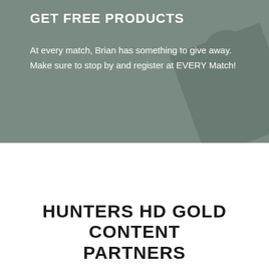GET FREE PRODUCTS
At every match, Brian has something to give away. Make sure to stop by and register at EVERY Match!
HUNTERS HD GOLD CONTENT PARTNERS